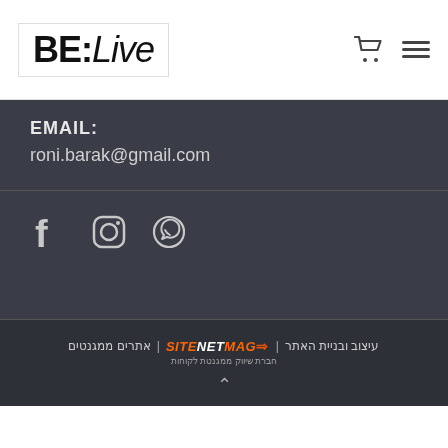[Figure (logo): BE:Live logo in bold/italic style with cart and hamburger menu icons]
EMAIL:
roni.barak@gmail.com
[Figure (infographic): Social media icons: Facebook, Instagram, WhatsApp]
עיצוב ובניית האתר | MAGNETSITE | אתרים ממגנטים